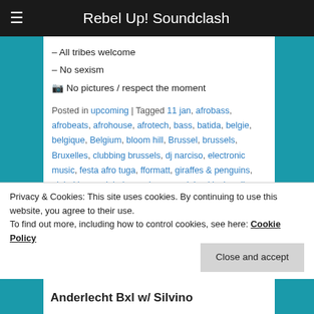Rebel Up! Soundclash
– All tribes welcome
– No sexism
📷 No pictures / respect the moment
Posted in upcoming | Tagged 11 jan, afrobass, afrobeats, afrohouse, afrotech, bass, batida, belgie, belgique, Belgium, bloom hill, Brussel, brussels, Bruxelles, clubbing brussels, dj narciso, electronic music, festa afro tuga, fformatt, giraffes & penguins, global bass, global sounds, gqom, juke, kiosk radio, kuduro, le grand mechant loop, lisboa, lisbon, nuno beats, party, Pllow, principe, principe discos, rafael aragon, rave, rebel up, rs produçoes, samedi, saturday, soiree, tropical bass, tropical djipsies, zaterdag
Privacy & Cookies: This site uses cookies. By continuing to use this website, you agree to their use. To find out more, including how to control cookies, see here: Cookie Policy
Anderlecht Bxl w/ Silvino